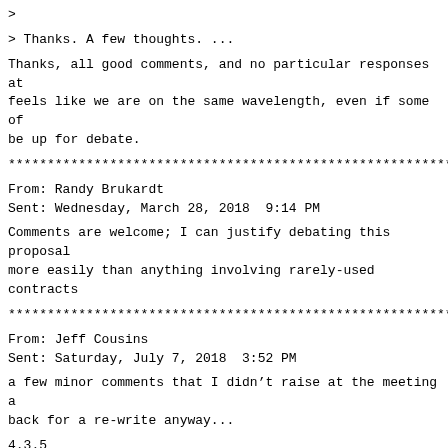>
> Thanks. A few thoughts. ...
Thanks, all good comments, and no particular responses at feels like we are on the same wavelength, even if some of be up for debate.
************************************************************
From: Randy Brukardt
Sent: Wednesday, March 28, 2018  9:14 PM
Comments are welcome; I can justify debating this proposal more easily than anything involving rarely-used contracts
************************************************************
From: Jeff Cousins
Sent: Saturday, July 7, 2018  3:52 PM
a few minor comments that I didn't raise at the meeting a back for a re-write anyway...
4.3.5
Dynamic Semantics
3rd bullet – "as the low bound of a range" -> "is the low
8th bullet (for a named_container_aggregate) – "is of the